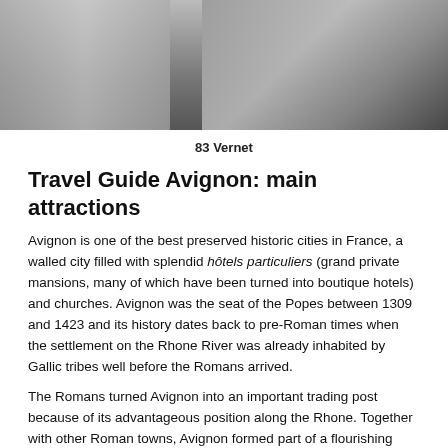[Figure (photo): Interior photo showing what appears to be a bar or restaurant seating area in black and white tones, with chairs and tables visible.]
83 Vernet
Travel Guide Avignon: main attractions
Avignon is one of the best preserved historic cities in France, a walled city filled with splendid hôtels particuliers (grand private mansions, many of which have been turned into boutique hotels) and churches. Avignon was the seat of the Popes between 1309 and 1423 and its history dates back to pre-Roman times when the settlement on the Rhone River was already inhabited by Gallic tribes well before the Romans arrived.
The Romans turned Avignon into an important trading post because of its advantageous position along the Rhone. Together with other Roman towns, Avignon formed part of a flourishing network of settlements in Gallia Narbonensis, the area we now know as Provence and Languedoc. But it was the Papacy in the